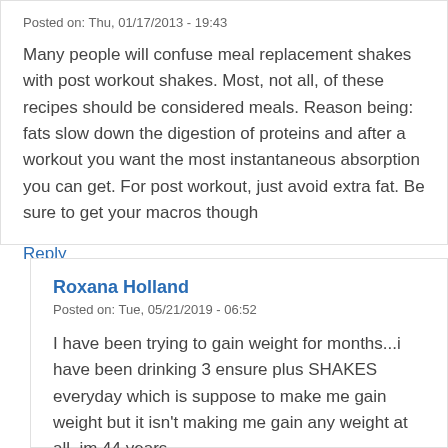Posted on: Thu, 01/17/2013 - 19:43
Many people will confuse meal replacement shakes with post workout shakes. Most, not all, of these recipes should be considered meals. Reason being: fats slow down the digestion of proteins and after a workout you want the most instantaneous absorption you can get. For post workout, just avoid extra fat. Be sure to get your macros though
Reply
Roxana Holland
Posted on: Tue, 05/21/2019 - 06:52
I have been trying to gain weight for months...i have been drinking 3 ensure plus SHAKES everyday which is suppose to make me gain weight but it isn't making me gain any weight at all..im 44 years